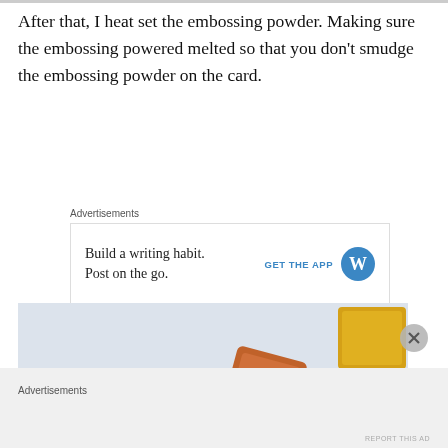After that, I heat set the embossing powder. Making sure the embossing powered melted so that you don't smudge the embossing powder on the card.
Advertisements
[Figure (infographic): Advertisement banner: 'Build a writing habit. Post on the go.' with GET THE APP call to action and WordPress logo]
[Figure (photo): Photo showing craft materials including orange ink pad, yellow stamp block, brush, and a card with gold embossing design. Watermark: kreativekymona.com]
Advertisements